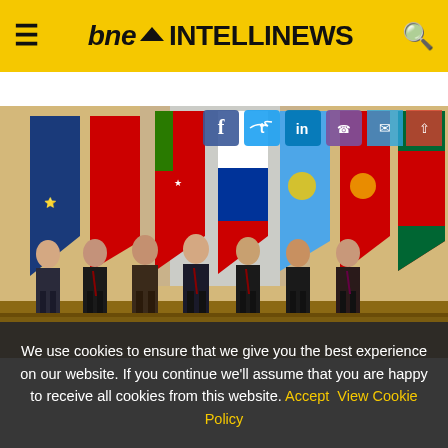bne INTELLINEWS
Log In | Login IntelliNews Pro
[Figure (photo): Group photo of seven world leaders or officials standing in a formal ornate room with national flags behind them including CSTO, Armenian, Belarusian, Russian, Kazakh, Kyrgyz, and Tajik flags. Social media share icons (Facebook, Twitter, LinkedIn, and others) are overlaid at the top.]
We use cookies to ensure that we give you the best experience on our website. If you continue we'll assume that you are happy to receive all cookies from this website. Accept  View Cookie Policy